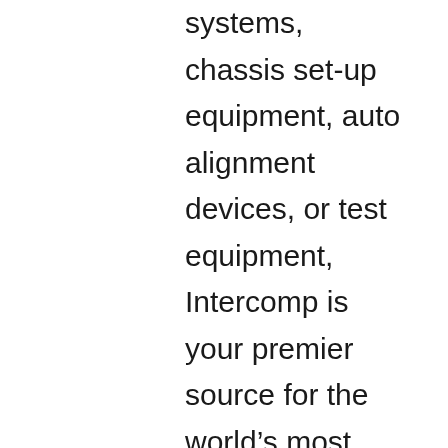systems, chassis set-up equipment, auto alignment devices, or test equipment, Intercomp is your premier source for the world's most reliable wireless racecar scales and measurement devices. Take your Intercomp digital scales with you anywhere with these handy carrying cases. The #1 Chassis Shop for Intercomp Electronic Weight Scales and Lead Weights. Show phone number $1,100. These Intercomp SW500™ E-Z Weigh Computer Scales are the ideal introduction to scale systems with all the features required